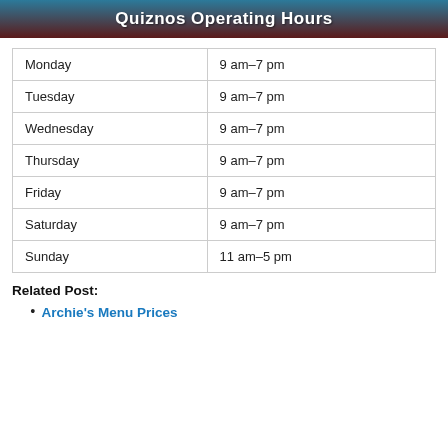Quiznos Operating Hours
| Day | Hours |
| --- | --- |
| Monday | 9 am–7 pm |
| Tuesday | 9 am–7 pm |
| Wednesday | 9 am–7 pm |
| Thursday | 9 am–7 pm |
| Friday | 9 am–7 pm |
| Saturday | 9 am–7 pm |
| Sunday | 11 am–5 pm |
Related Post:
Archie's Menu Prices